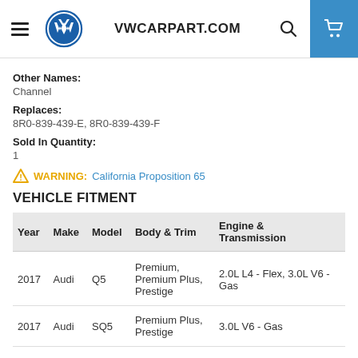VWCARPART.COM
Other Names:
Channel
Replaces:
8R0-839-439-E, 8R0-839-439-F
Sold In Quantity:
1
WARNING: California Proposition 65
VEHICLE FITMENT
| Year | Make | Model | Body & Trim | Engine & Transmission |
| --- | --- | --- | --- | --- |
| 2017 | Audi | Q5 | Premium, Premium Plus, Prestige | 2.0L L4 - Flex, 3.0L V6 - Gas |
| 2017 | Audi | SQ5 | Premium Plus, Prestige | 3.0L V6 - Gas |